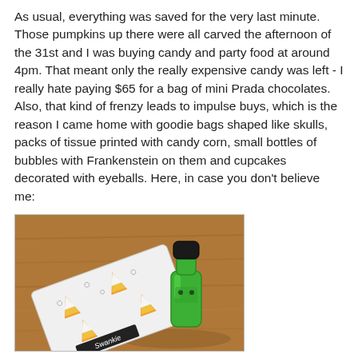As usual, everything was saved for the very last minute. Those pumpkins up there were all carved the afternoon of the 31st and I was buying candy and party food at around 4pm. That meant only the really expensive candy was left - I really hate paying $65 for a bag of mini Prada chocolates. Also, that kind of frenzy leads to impulse buys, which is the reason I came home with goodie bags shaped like skulls, packs of tissue printed with candy corn, small bottles of bubbles with Frankenstein on them and cupcakes decorated with eyeballs. Here, in case you don't believe me:
[Figure (photo): A photo on a wood table showing a pack of tissue printed with candy corn designs (Swankie brand visible at bottom) and a small green Frankenstein-shaped bubble bottle with a black cap.]